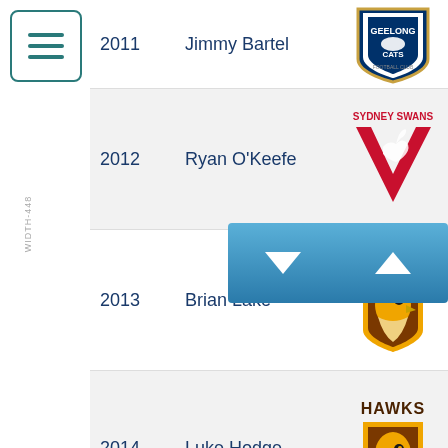[Figure (other): Hamburger menu button icon with teal color]
| Year | Player | Club |
| --- | --- | --- |
| 2011 | Jimmy Bartel | Geelong Cats |
| 2012 | Ryan O'Keefe | Sydney Swans |
| 2013 | Brian Lake | Hawthorn Hawks |
| 2014 | Luke Hodge | Hawthorn Hawks |
| 2015 | Cyril Rioli | Hawthorn Hawks |